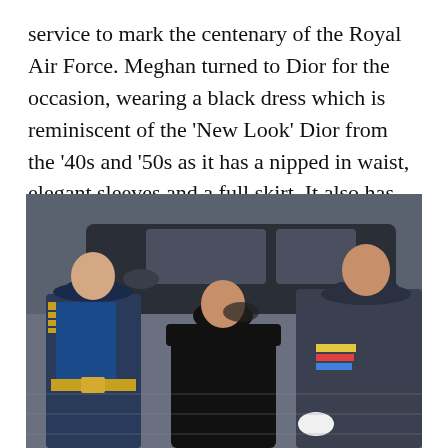service to mark the centenary of the Royal Air Force. Meghan turned to Dior for the occasion, wearing a black dress which is reminiscent of the 'New Look' Dior from the '40s and '50s as it has a nipped in waist, elegant sleeves and a full skirt. It also has the neckline which has quickly become Meghan's signature — the boat neck.
[Figure (photo): Three people walking near a black car. On the left, a man in a blue RAF ceremonial uniform with gold braid and medals. In the center, a woman in a black dress with a boat neckline wearing a black hat. On the right, a man in a dark grey RAF uniform with medals and a cap.]